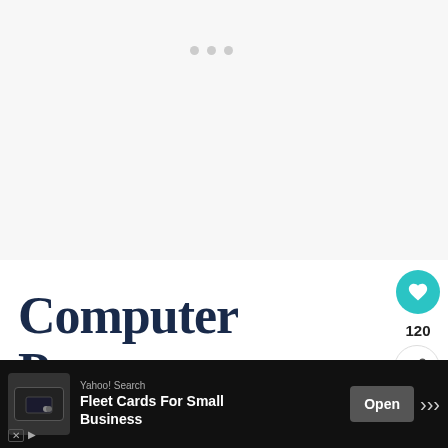[Figure (screenshot): Top light gray area with three small gray dots (loading indicator) near top center]
[Figure (other): Teal circular heart/like button with heart icon, showing count of 120 below it, and a circular share button beneath that]
Computer Programmer
[Figure (other): WHAT'S NEXT panel with thumbnail and text: Social Anxiety Forum - Ho...]
Computer programmers often work alone and...can be
[Figure (other): Advertisement bar at bottom: Yahoo! Search Fleet Cards For Small Business, Open button]